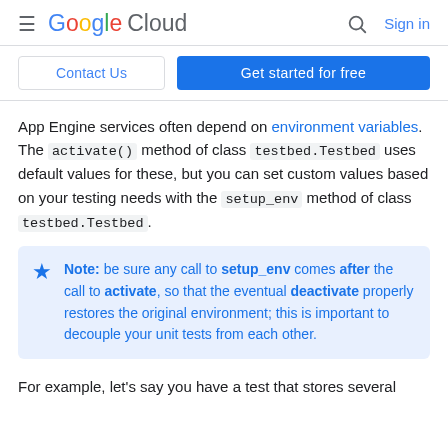Google Cloud — Sign in
Contact Us | Get started for free
App Engine services often depend on environment variables. The activate() method of class testbed.Testbed uses default values for these, but you can set custom values based on your testing needs with the setup_env method of class testbed.Testbed.
Note: be sure any call to setup_env comes after the call to activate, so that the eventual deactivate properly restores the original environment; this is important to decouple your unit tests from each other.
For example, let's say you have a test that stores several